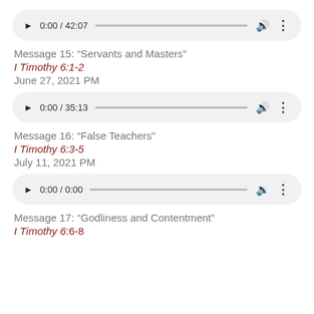[Figure (other): Audio player showing 0:00 / 42:07]
Message 15: “Servants and Masters”
I Timothy 6:1-2
June 27, 2021 PM
[Figure (other): Audio player showing 0:00 / 35:13]
Message 16: “False Teachers”
I Timothy 6:3-5
July 11, 2021 PM
[Figure (other): Audio player showing 0:00 / 0:00]
Message 17: “Godliness and Contentment”
I Timothy 6:6-8